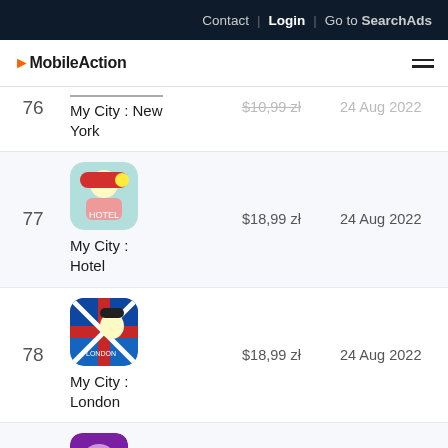Contact | Login | Go to SearchAds
MobileAction
| # | App | Price | Date |
| --- | --- | --- | --- |
| 76 | My City : New York | $10,99 zł | 24 Aug 2022 |
| 77 | My City : Hotel | $18,99 zł | 24 Aug 2022 |
| 78 | My City : London | $18,99 zł | 24 Aug 2022 |
| 79 | Towniz | $0,00 zł | 24 Aug 2022 |